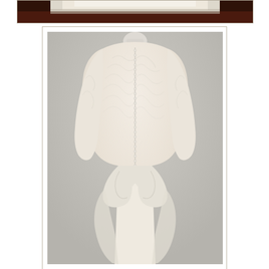[Figure (photo): Top portion of a cream/ivory wedding dress on a mannequin, dark background, partial view showing the upper bodice area.]
[Figure (photo): Back view of an ivory/cream embroidered wedding dress on a headless mannequin, showing intricate lace embroidery, small buttons running down the back, long sleeves, and a bustle/bow detail at the lower back. Light grey background.]
In keeping with the bridal tradition of “something old, new, borrowed and blue”, Kate’s bridal attire included the following items:  vintage lace was also incorporated into the dress for “something old” as well as a blue ribbon sewn into the bodice for